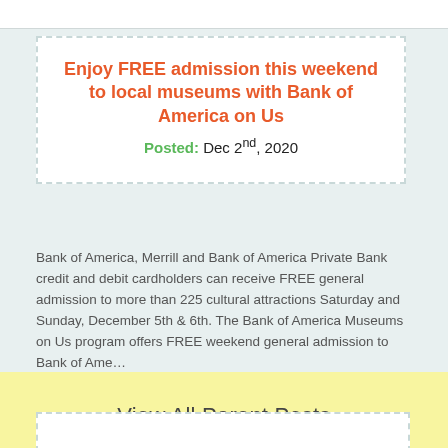Enjoy FREE admission this weekend to local museums with Bank of America on Us
Posted: Dec 2nd, 2020
Bank of America, Merrill and Bank of America Private Bank credit and debit cardholders can receive FREE general admission to more than 225 cultural attractions Saturday and Sunday, December 5th & 6th. The Bank of America Museums on Us program offers FREE weekend general admission to Bank of Ame…
View All Parent Posts